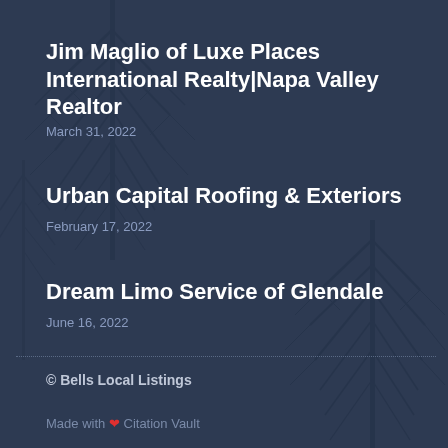Jim Maglio of Luxe Places International Realty|Napa Valley Realtor
March 31, 2022
Urban Capital Roofing & Exteriors
February 17, 2022
Dream Limo Service of Glendale
June 16, 2022
© Bells Local Listings
Made with ❤ Citation Vault